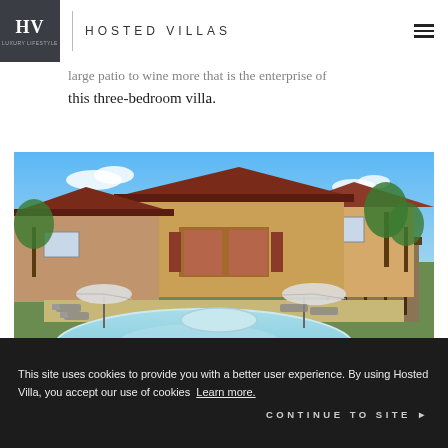HOSTED VILLAS
large patio to wine more that is the enterprise of this three-bedroom villa.
[Figure (photo): Exterior of a Mediterranean-style two-story villa with terracotta roof tiles, yellow stucco walls, surrounded by palm trees and tropical greenery. In the foreground is a large curved swimming pool with lounge chairs and patio umbrellas on the pool deck.]
This site uses cookies to provide you with a better user experience. By using Hosted Villa, you accept our use of cookies  Learn more.
CONTINUE TO SITE ▶